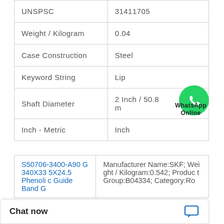| UNSPSC | 31411705 |
| Weight / Kilogram | 0.04 |
| Case Construction | Steel |
| Keyword String | Lip |
| Shaft Diameter | 2 Inch / 50.8 mm |
| Inch - Metric | Inch |
| S50706-3400-A90 G 340X335X24.5 Phenolic Guide Band G | Manufacturer Name:SKF; Weight / Kilogram:0.542; Product Group:B04334; Category:Ro |
Chat now